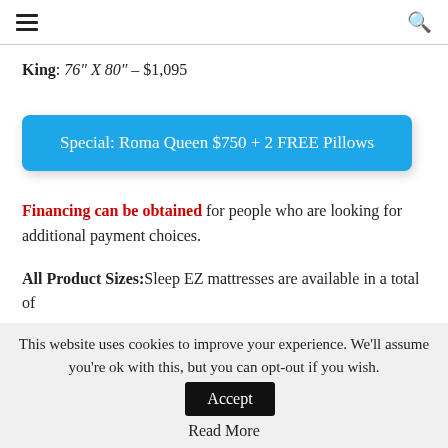☰ [menu icon]  🔍 [search icon]
King: 76″ X 80″ – $1,095
Special: Roma Queen $750 + 2 FREE Pillows
Financing can be obtained for people who are looking for additional payment choices.
All Product Sizes:Sleep EZ mattresses are available in a total of
This website uses cookies to improve your experience. We'll assume you're ok with this, but you can opt-out if you wish. Accept
Read More